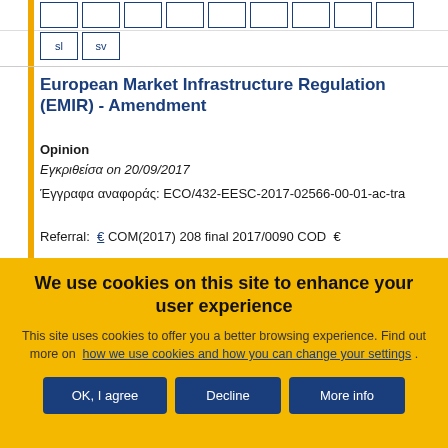sl  sv
European Market Infrastructure Regulation (EMIR) - Amendment
Opinion
Εγκριθείσα on 20/09/2017
Έγγραφα αναφοράς: ECO/432-EESC-2017-02566-00-01-ac-tra
Referral:  COM(2017) 208 final 2017/0090 COD
We use cookies on this site to enhance your user experience
This site uses cookies to offer you a better browsing experience. Find out more on how we use cookies and how you can change your settings .
OK, I agree
Decline
More info